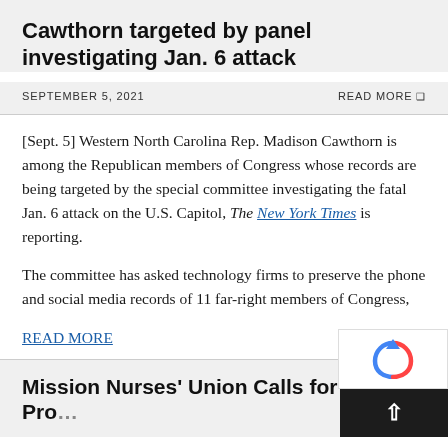Cawthorn targeted by panel investigating Jan. 6 attack
SEPTEMBER 5, 2021
READ MORE
[Sept. 5] Western North Carolina Rep. Madison Cawthorn is among the Republican members of Congress whose records are being targeted by the special committee investigating the fatal Jan. 6 attack on the U.S. Capitol, The New York Times is reporting.
The committee has asked technology firms to preserve the phone and social media records of 11 far-right members of Congress,
READ MORE
Mission Nurses' Union Calls for Public Pro...